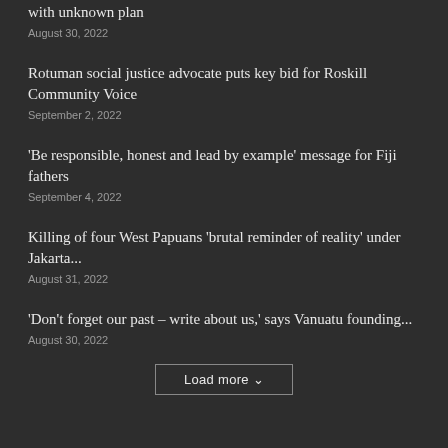with unknown plan
August 30, 2022
Rotuman social justice advocate puts key bid for Roskill Community Voice
September 2, 2022
'Be responsible, honest and lead by example' message for Fiji fathers
September 4, 2022
Killing of four West Papuans 'brutal reminder of reality' under Jakarta...
August 31, 2022
'Don't forget our past – write about us,' says Vanuatu founding...
August 30, 2022